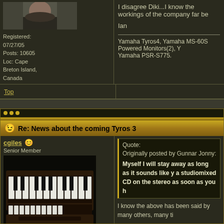[Figure (photo): User avatar photo showing a person from shoulders up]
Registered: 07/27/05
Posts: 10605
Loc: Cape Breton Island, Canada
I disagree Diki...I know the workings of the company far be
Ian
Yamaha Tyros4, Yamaha MS-60S Powered Monitors(2), Y Yamaha PSR-S775.
Top
Re: News about the coming Tyros 3
cgiles
Senior Member
[Figure (photo): User avatar showing a keyboard/piano instrument]
Registered: 09/29/05
Posts: 6492
Loc:
Quote:
Originally posted by Gunnar Jonny:

Myself I will stay away as long as it sounds like y a studiomixed CD on the stereo as soon as you h
I know the above has been said by many others, many ti